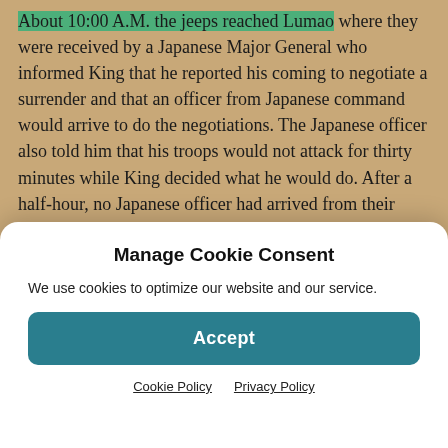About 10:00 A.M. the jeeps reached Lumao where they were received by a Japanese Major General who informed King that he reported his coming to negotiate a surrender and that an officer from Japanese command would arrive to do the negotiations. The Japanese officer also told him that his troops would not attack for thirty minutes while King decided what he would do. After a half-hour, no Japanese officer had arrived from their headquarters and the Japanese attack had resumed. King sent Col. Collier and Maj. Hunt back to his command with instructions that any unit in line with the Japanese advance should fly
Manage Cookie Consent
We use cookies to optimize our website and our service.
Accept
Cookie Policy   Privacy Policy